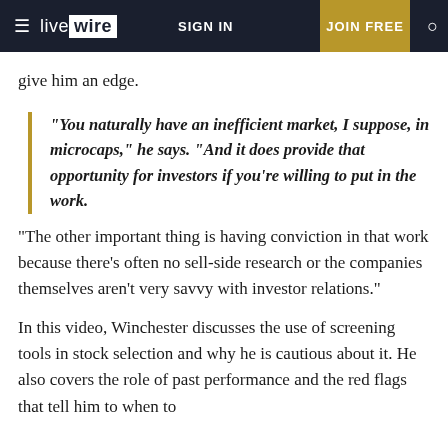livewire | SIGN IN | JOIN FREE
give him an edge.
"You naturally have an inefficient market, I suppose, in microcaps," he says. "And it does provide that opportunity for investors if you're willing to put in the work.
"The other important thing is having conviction in that work because there's often no sell-side research or the companies themselves aren't very savvy with investor relations."
In this video, Winchester discusses the use of screening tools in stock selection and why he is cautious about it. He also covers the role of past performance and the red flags that tell him to when to